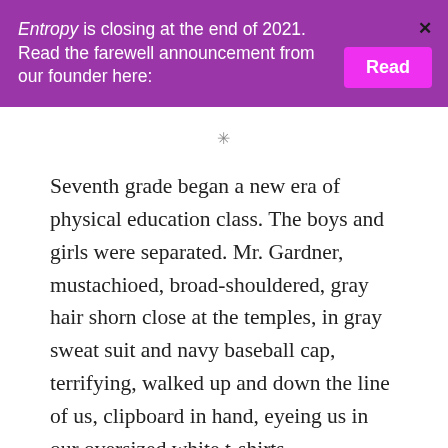Entropy is closing at the end of 2021. Read the farewell announcement from our founder here:
✳
Seventh grade began a new era of physical education class. The boys and girls were separated. Mr. Gardner, mustachioed, broad-shouldered, gray hair shorn close at the temples, in gray sweat suit and navy baseball cap, terrifying, walked up and down the line of us, clipboard in hand, eyeing us in our oversized white t-shirts